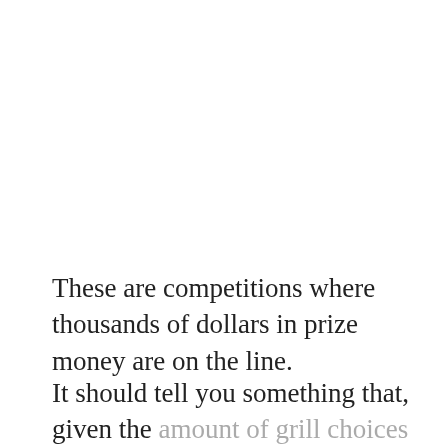These are competitions where thousands of dollars in prize money are on the line.
It should tell you something that, given the amount of grill choices these competitors have, a PK grill was used to cook the winning